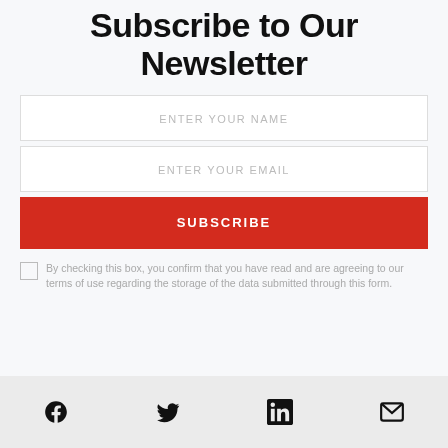Subscribe to Our Newsletter
ENTER YOUR NAME
ENTER YOUR EMAIL
SUBSCRIBE
By checking this box, you confirm that you have read and are agreeing to our terms of use regarding the storage of the data submitted through this form.
[Figure (infographic): Social media icons: Facebook, Twitter, LinkedIn, Mail]